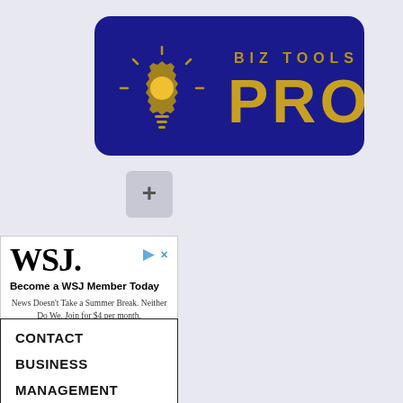[Figure (logo): Biz Tools Pro logo: dark navy blue rounded rectangle background with a gear/lightbulb icon in gold on the left, and text 'BIZ TOOLS PRO' in gold on the right]
[Figure (other): Gray square button with a plus (+) sign]
[Figure (other): WSJ advertisement: WSJ logo in bold black serif font, ad icon with triangle and X, bold text 'Become a WSJ Member Today', body text 'News Doesn't Take a Summer Break. Neither Do We. Join for $4 per month.']
CONTACT
BUSINESS
MANAGEMENT
MARKETING